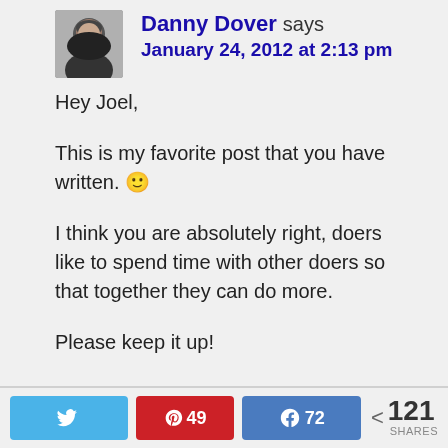[Figure (photo): Avatar photo of Danny Dover, a man in a dark shirt]
Danny Dover says
January 24, 2012 at 2:13 pm
Hey Joel,
This is my favorite post that you have written. 🙂
I think you are absolutely right, doers like to spend time with other doers so that together they can do more.
Please keep it up!
Reply
Tweet  49  72  < 121 SHARES